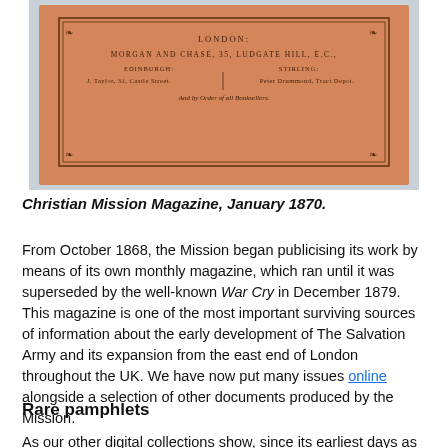[Figure (photo): Photograph of an antique orange/brown book cover with printed text: LONDON: MORGAN AND CHASE, 35, LUDGATE HILL, E.C. / EDINBURGH: J. TAYLOR, 31, CASTLE STREET. / STIRLING: PETER DRUMMOND, TRACT DEPOT. / And by Order of all Booksellers.]
Christian Mission Magazine, January 1870.
From October 1868, the Mission began publicising its work by means of its own monthly magazine, which ran until it was superseded by the well-known War Cry in December 1879. This magazine is one of the most important surviving sources of information about the early development of The Salvation Army and its expansion from the east end of London throughout the UK. We have now put many issues online alongside a selection of other documents produced by the Mission.
Rare pamphlets
As our other digital collections show, since its earliest days as the